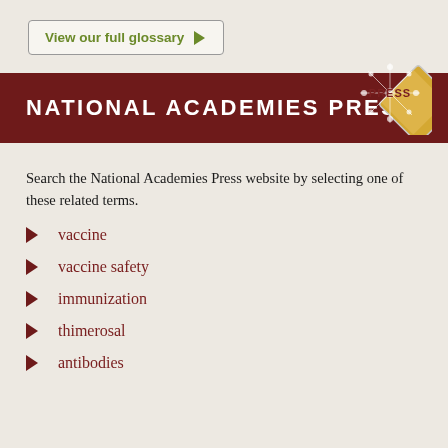View our full glossary
NATIONAL ACADEMIES PRESS
[Figure (logo): National Academies Press diamond-shaped logo with snowflake/floral pattern in gold and white, with 'PRESS' text in the center]
Search the National Academies Press website by selecting one of these related terms.
vaccine
vaccine safety
immunization
thimerosal
antibodies